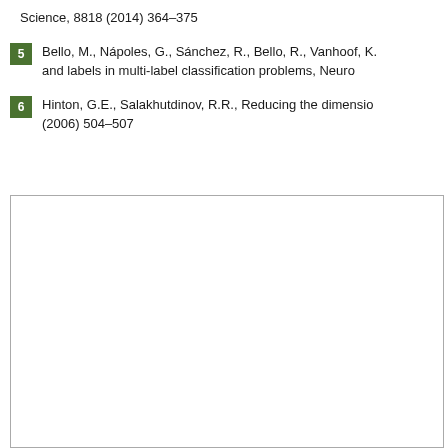Science, 8818 (2014) 364–375
5  Bello, M., Nápoles, G., Sánchez, R., Bello, R., Vanhoof, K.: and labels in multi-label classification problems, Neuro
6  Hinton, G.E., Salakhutdinov, R.R., Reducing the dimensio (2006) 504–507
[Figure (other): Empty white box with gray border, appears to be a placeholder figure or table area]